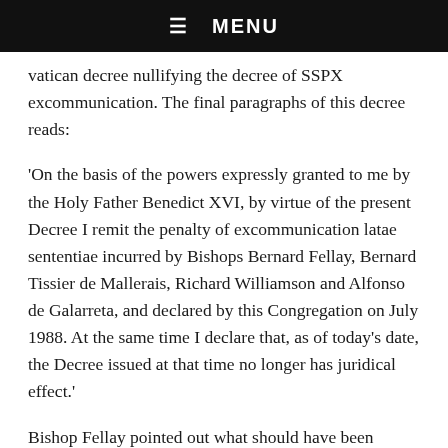☰ MENU
vatican decree nullifying the decree of SSPX excommunication. The final paragraphs of this decree reads:
'On the basis of the powers expressly granted to me by the Holy Father Benedict XVI, by virtue of the present Decree I remit the penalty of excommunication latae sententiae incurred by Bishops Bernard Fellay, Bernard Tissier de Mallerais, Richard Williamson and Alfonso de Galarreta, and declared by this Congregation on July 1988. At the same time I declare that, as of today's date, the Decree issued at that time no longer has juridical effect.'
Bishop Fellay pointed out what should have been obvious to us all. Notwithstanding the fact that the first sentence mentions only four of the six bishops subject to the former decree, the final sentence clearly states that the former decree 'no longer has juridical effect.' That means the former decree ceases to